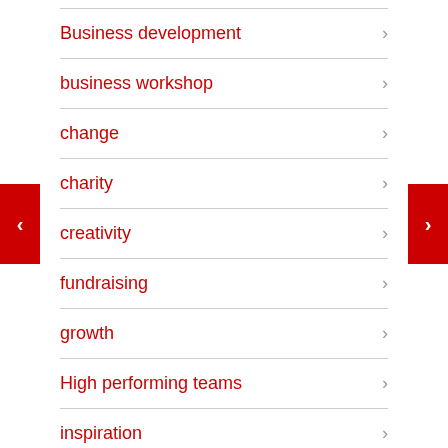Business development
business workshop
change
charity
creativity
fundraising
growth
High performing teams
inspiration
leadership